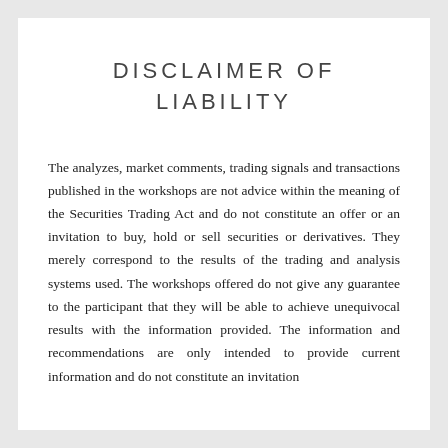DISCLAIMER OF LIABILITY
The analyzes, market comments, trading signals and transactions published in the workshops are not advice within the meaning of the Securities Trading Act and do not constitute an offer or an invitation to buy, hold or sell securities or derivatives. They merely correspond to the results of the trading and analysis systems used. The workshops offered do not give any guarantee to the participant that they will be able to achieve unequivocal results with the information provided. The information and recommendations are only intended to provide current information and do not constitute an invitation